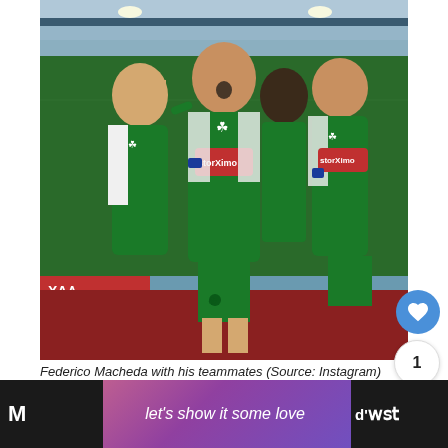[Figure (photo): Panathinaikos football players in green jerseys celebrating. Federico Macheda is in the center with his mouth open in celebration, teammates surround him including one behind with a hand on his shoulder and another to the right. All wear green Panathinaikos kits with 'StorXimo' sponsor. Taken in a stadium with red seats visible in background.]
Federico Macheda with his teammates (Source: Instagram)
M ... d' ... st